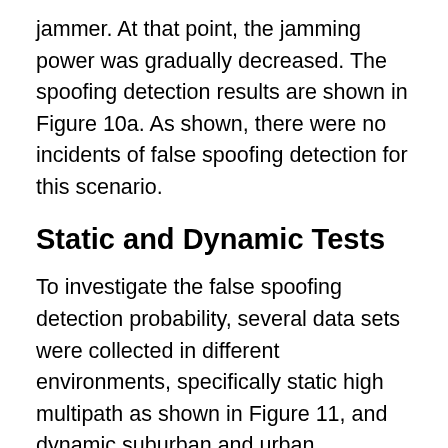jammer. At that point, the jamming power was gradually decreased. The spoofing detection results are shown in Figure 10a. As shown, there were no incidents of false spoofing detection for this scenario.
Static and Dynamic Tests
To investigate the false spoofing detection probability, several data sets were collected in different environments, specifically static high multipath as shown in Figure 11, and dynamic suburban and urban environments in Calgary. The received signal strength measured by C/N0 is used to characterize the harshness of the wireless propagation channel. In multipath and fading environments, signal strength fluctuations are caused by signal reflection, refraction and blockage, which disrupts the receiver tracking